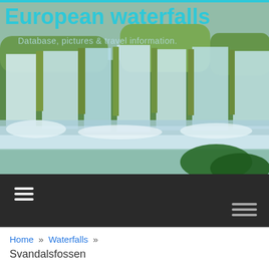[Figure (photo): A photograph of European waterfalls — cascading water over rocky steps with white foam and greenery visible. Used as a website header background image.]
European waterfalls
Database, pictures & travel information.
[Figure (other): Dark navigation bar with a hamburger menu icon on the left and a smaller hamburger icon on the right.]
Home » Waterfalls »
Svandalsfossen